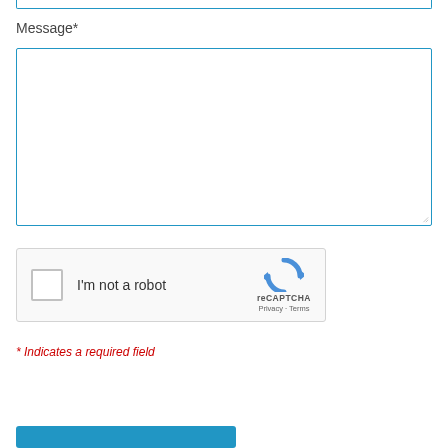Message*
[Figure (screenshot): Empty textarea input field with blue border for message entry, with resize handle at bottom right]
[Figure (screenshot): reCAPTCHA widget with checkbox labeled I'm not a robot and reCAPTCHA logo with Privacy and Terms links]
* Indicates a required field
[Figure (screenshot): Blue submit button at bottom of form]